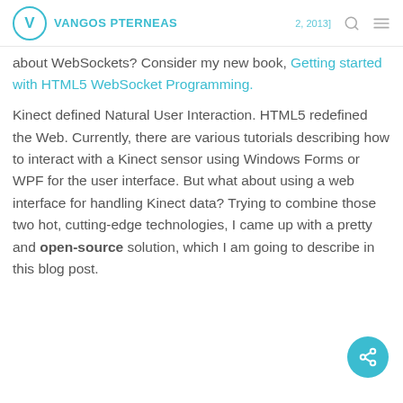VANGOS PTERNEAS
about WebSockets? Consider my new book, Getting started with HTML5 WebSocket Programming.
Kinect defined Natural User Interaction. HTML5 redefined the Web. Currently, there are various tutorials describing how to interact with a Kinect sensor using Windows Forms or WPF for the user interface. But what about using a web interface for handling Kinect data? Trying to combine those two hot, cutting-edge technologies, I came up with a pretty and open-source solution, which I am going to describe in this blog post.